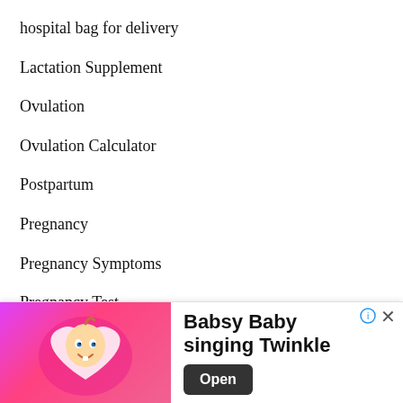hospital bag for delivery
Lactation Supplement
Ovulation
Ovulation Calculator
Postpartum
Pregnancy
Pregnancy Symptoms
Pregnancy Test
Pregnancy Week By Week
Product Guide
Quotes
Stretch Marks
[Figure (illustration): Advertisement banner for 'Babsy Baby singing Twinkle' app, featuring a cartoon baby with pink glowing heart background, an Open button, and an info icon.]